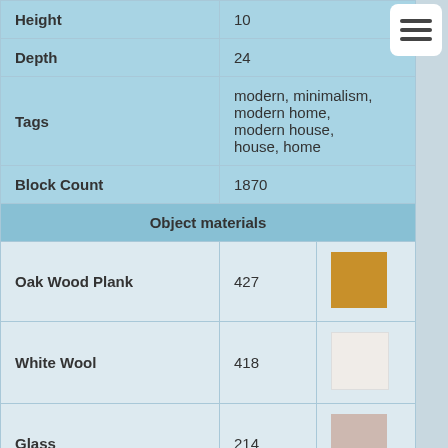| Property | Value | Swatch |
| --- | --- | --- |
| Height | 10 |  |
| Depth | 24 |  |
| Tags | modern, minimalism, modern home, modern house, house, home |  |
| Block Count | 1870 |  |
| Object materials |  |  |
| Oak Wood Plank | 427 | #c8902a |
| White Wool | 418 | #f0ece8 |
| Glass | 214 | #d4c0b8 |
| Grass | 197 | #22cc22 |
| Oak Leaves (No Decay) | 131 | #2a9632 |
| Glowstone | 91 | #e8dca8 |